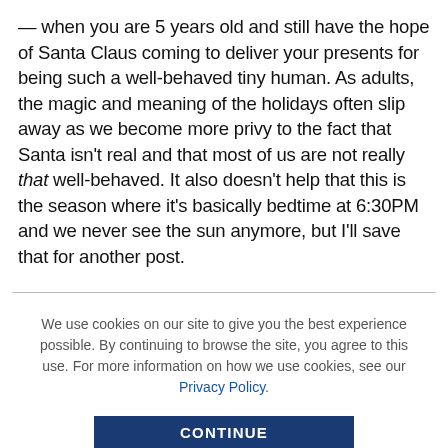— when you are 5 years old and still have the hope of Santa Claus coming to deliver your presents for being such a well-behaved tiny human. As adults, the magic and meaning of the holidays often slip away as we become more privy to the fact that Santa isn't real and that most of us are not really that well-behaved. It also doesn't help that this is the season where it's basically bedtime at 6:30PM and we never see the sun anymore, but I'll save that for another post.
We use cookies on our site to give you the best experience possible. By continuing to browse the site, you agree to this use. For more information on how we use cookies, see our Privacy Policy.
CONTINUE